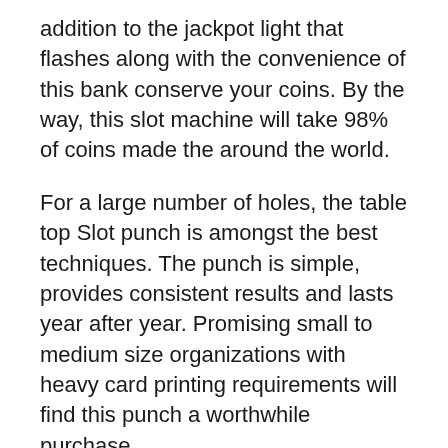addition to the jackpot light that flashes along with the convenience of this bank conserve your coins. By the way, this slot machine will take 98% of coins made the around the world.
For a large number of holes, the table top Slot punch is amongst the best techniques. The punch is simple, provides consistent results and lasts year after year. Promising small to medium size organizations with heavy card printing requirements will find this punch a worthwhile purchase.
When you will have the urge to gamble again, take a short time to visualize what it felt like for you on your way back from the casino. It is likely you will feel this horrible feeling before you make the decision to gamble again. Is this fact what you need to feel again later yesterday? That horrible emptiness and despair in the pit of one's stomach. This visualization is a powerful